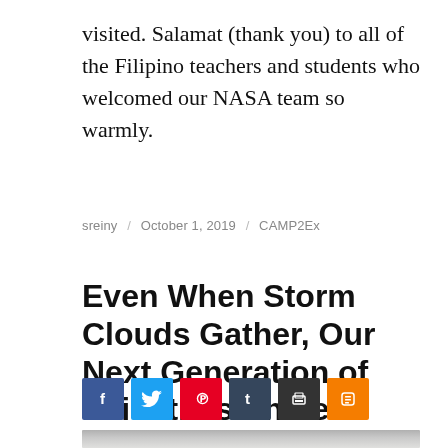visited. Salamat (thank you) to all of the Filipino teachers and students who welcomed our NASA team so warmly.
sreiny / October 1, 2019 / CAMP2Ex
Even When Storm Clouds Gather, Our Next Generation of Scientists Shines Bright
[Figure (other): Row of social sharing buttons: Facebook (blue), Twitter (light blue), Pinterest (red), Tumblr (dark blue), print/copy (dark grey), Blogger (orange)]
[Figure (photo): Partial photo showing a grey cloudy sky]